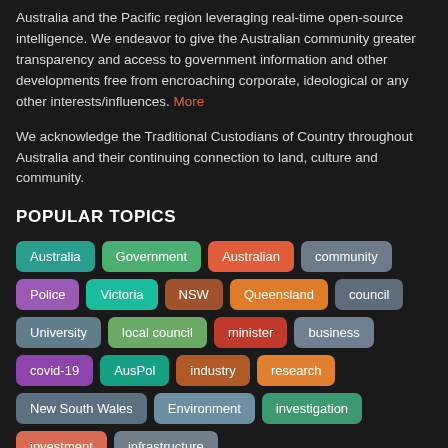Australia and the Pacific region leveraging real-time open-source intelligence. We endeavor to give the Australian community greater transparency and access to government information and other developments free from encroaching corporate, ideological or any other interests/influences. More
We acknowledge the Traditional Custodians of Country throughout Australia and their continuing connection to land, culture and community.
POPULAR TOPICS
Australia
Government
Australian
community
Police
Victoria
NSW
Queensland
council
University
local council
minister
business
covid-19
AusPol
industry
research
New South Wales
Environment
investigation
investment
infrastructure